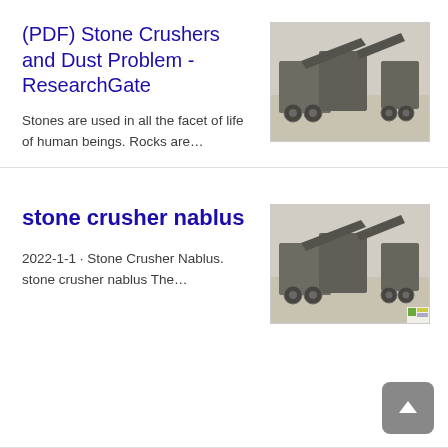(PDF) Stone Crushers and Dust Problem - ResearchGate
[Figure (photo): Photograph of industrial stone crusher machinery on a dusty quarry site, viewed from slightly elevated angle, gray-toned machinery with conveyor belts and wheels.]
Stones are used in all the facet of life of human beings. Rocks are...
stone crusher nablus
[Figure (photo): Photograph of industrial stone crusher machinery on a dusty quarry site, similar to first image, gray-toned machinery with conveyor belts and wheels.]
2022-1-1 · Stone Crusher Nablus. stone crusher nablus The...